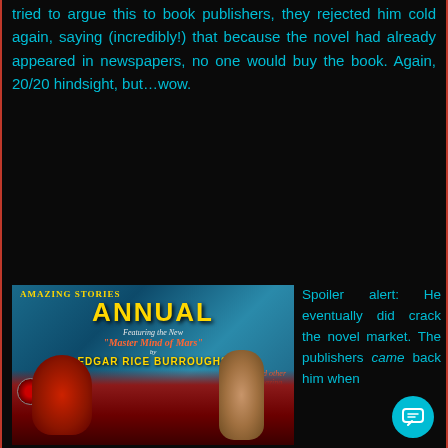tried to argue this to book publishers, they rejected him cold again, saying (incredibly!) that because the novel had already appeared in newspapers, no one would buy the book. Again, 20/20 hindsight, but…wow.
[Figure (illustration): Magazine cover of Amazing Stories Annual featuring 'Master Mind of Mars' by Edgar Rice Burroughs and other amazing stories. Shows a red alien figure and a human figure in a science fiction scene.]
Spoiler alert: He eventually did crack the novel market. The publishers came back him when